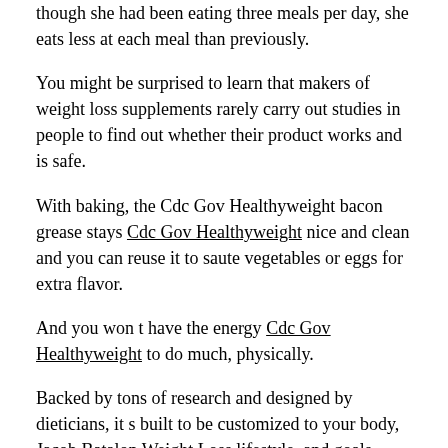though she had been eating three meals per day, she eats less at each meal than previously.
You might be surprised to learn that makers of weight loss supplements rarely carry out studies in people to find out whether their product works and is safe.
With baking, the Cdc Gov Healthyweight bacon grease stays Cdc Gov Healthyweight nice and clean and you can reuse it to saute vegetables or eggs for extra flavor.
And you won t have the energy Cdc Gov Healthyweight to do much, physically.
Backed by tons of research and designed by dieticians, it s built to be customized to your body, Jacob Batalon Weight Loss lifestyle, and goals.